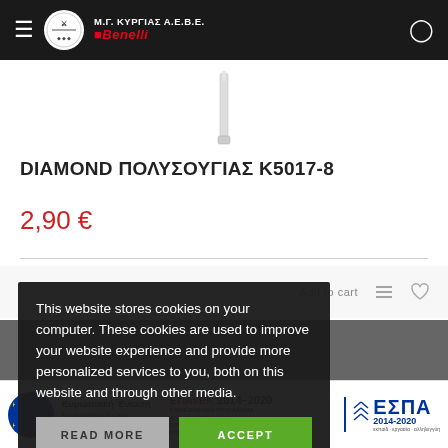Μ.Γ. ΚΥΡΓΙΑΣ Α.Ε.Β.Ε. Benelli
[Figure (photo): Partial product image (white/gray object) against white background]
DIAMOND ΠΟΛΥΣΟΥΓΙΑΣ Κ5017-8
2,90 €
This website stores cookies on your computer. These cookies are used to improve your website experience and provide more personalized services to you, both on this website and through other media.
READ MORE   ACCEPT
[Figure (logo): ΕΣΠΑ / ΕΠΑνΕΚ 2014-2020 footer banner with EU flag, Ευρωπαϊκή Ένωση, Ευρωπαϊκό Ταμείο Περιφερειακής Ανάπτυξης, ΕΣΠΑ 2014-2020 logos]